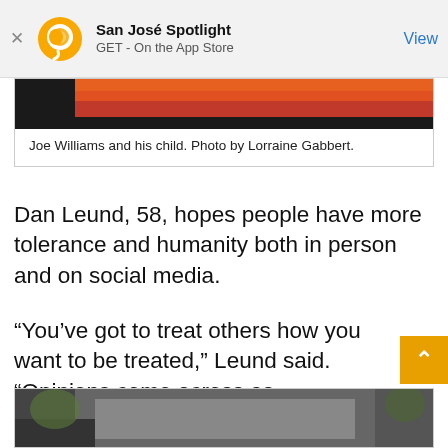San José Spotlight
GET - On the App Store
View
[Figure (photo): Partial photo of Joe Williams and his child, showing orange and dark background]
Joe Williams and his child. Photo by Lorraine Gabbert.
Dan Leund, 58, hopes people have more tolerance and humanity both in person and on social media.
“You’ve got to treat others how you want to be treated,” Leund said. “Opinions come across as confrontations.”
[Figure (photo): Partial photo of a person outdoors near a building with trees visible]